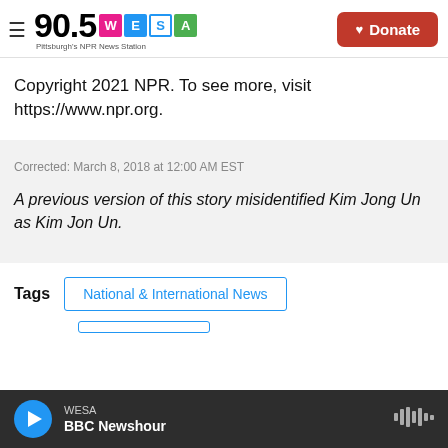90.5 WESA Pittsburgh's NPR News Station | Donate
Copyright 2021 NPR. To see more, visit https://www.npr.org.
Corrected: March 8, 2018 at 12:00 AM EST
A previous version of this story misidentified Kim Jong Un as Kim Jon Un.
Tags  National & International News
WESA BBC Newshour